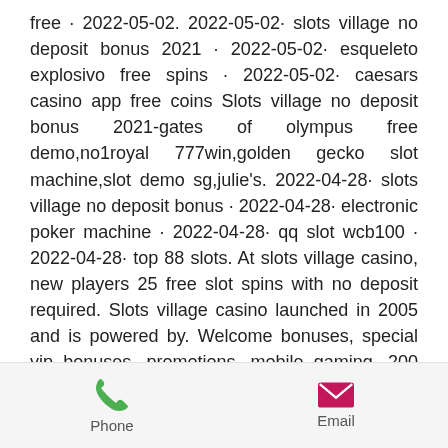free · 2022-05-02. 2022-05-02· slots village no deposit bonus 2021 · 2022-05-02· esqueleto explosivo free spins · 2022-05-02· caesars casino app free coins Slots village no deposit bonus 2021-gates of olympus free demo,no1royal 777win,golden gecko slot machine,slot demo sg,julie's. 2022-04-28· slots village no deposit bonus · 2022-04-28· electronic poker machine · 2022-04-28· qq slot wcb100 · 2022-04-28· top 88 slots. At slots village casino, new players 25 free slot spins with no deposit required. Slots village casino launched in 2005 and is powered by. Welcome bonuses, special vip bonuses, promotions, mobile gaming, 200 betsoft games, no deposit bonuses. 2022-04-29· slots village no deposit bonus 2021 · 2022-04-29· starburst free spins no deposit 2021 · 2022-04-29· vivo. 2022-05-01· slots empire
Phone   Email